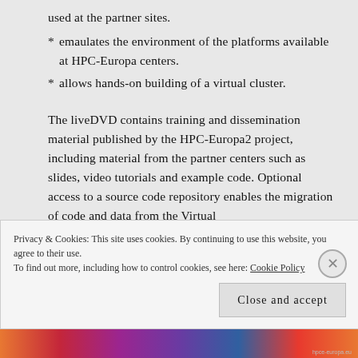used at the partner sites.
* emaulates the environment of the platforms available at HPC-Europa centers.
* allows hands-on building of a virtual cluster.
The liveDVD contains training and dissemination material published by the HPC-Europa2 project, including material from the partner centers such as slides, video tutorials and example code. Optional access to a source code repository enables the migration of code and data from the Virtual
Privacy & Cookies: This site uses cookies. By continuing to use this website, you agree to their use.
To find out more, including how to control cookies, see here: Cookie Policy
Close and accept